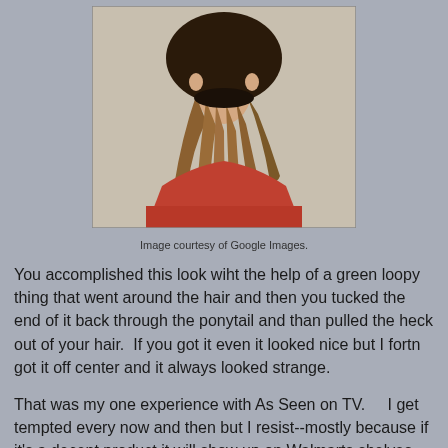[Figure (photo): Back of a person's head showing a ponytail hairstyle, person wearing a red shirt, photographed from behind against a beige wall background]
Image courtesy of Google Images.
You accomplished this look wiht the help of a green loopy thing that went around the hair and then you tucked the end of it back through the ponytail and than pulled the heck out of your hair.  If you got it even it looked nice but I fortn got it off center and it always looked strange.
That was my one experience with As Seen on TV.    I get tempted every now and then but I resist--mostly because if it's a decent product it will show up on Walmarts shelves and then I don't have to pay shipping.